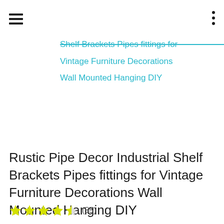≡  ⋮
Shelf Brackets Pipes fittings for
Vintage Furniture Decorations
Wall Mounted Hanging DIY
Rustic Pipe Decor Industrial Shelf Brackets Pipes fittings for Vintage Furniture Decorations Wall Mounted Hanging DIY
★★★★☆ (55)